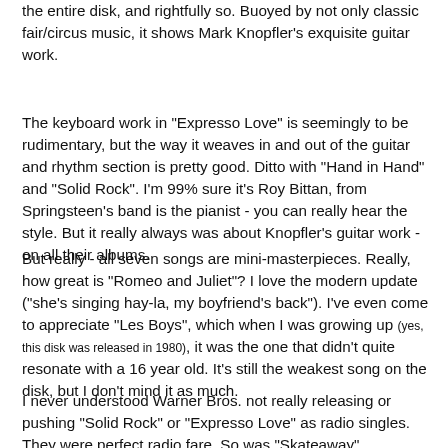the entire disk, and rightfully so. Buoyed by not only classic fair/circus music, it shows Mark Knopfler's exquisite guitar work.
The keyboard work in "Expresso Love" is seemingly to be rudimentary, but the way it weaves in and out of the guitar and rhythm section is pretty good. Ditto with "Hand in Hand" and "Solid Rock". I'm 99% sure it's Roy Bittan, from Springsteen's band is the pianist - you can really hear the style. But it really always was about Knopfler's guitar work - on all their albums.
But really - all seven songs are mini-masterpieces. Really, how great is "Romeo and Juliet"? I love the modern update ("she's singing hay-la, my boyfriend's back"). I've even come to appreciate "Les Boys", which when I was growing up (yes, this disk was released in 1980), it was the one that didn't quite resonate with a 16 year old. It's still the weakest song on the disk, but I don't mind it as much.
I never understood Warner Bros. not really releasing or pushing "Solid Rock" or "Expresso Love" as radio singles. They were perfect radio fare. So was "Skateaway".